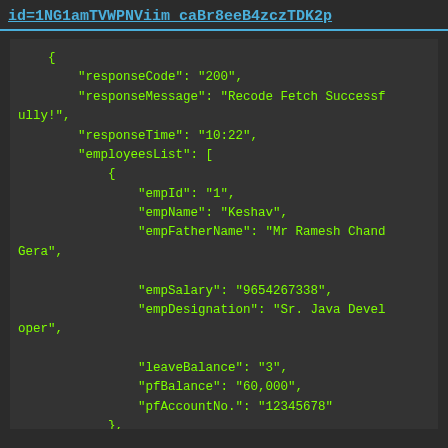id=1NG1amTVWPNViim_caBr8eeB4zczTDK2p
{
    "responseCode": "200",
    "responseMessage": "Recode Fetch Successfully!",
    "responseTime": "10:22",
    "employeesList": [
        {
            "empId": "1",
            "empName": "Keshav",
            "empFatherName": "Mr Ramesh Chand Gera",
            "empSalary": "9654267338",
            "empDesignation": "Sr. Java Developer",
            "leaveBalance": "3",
            "pfBalance": "60,000",
            "pfAccountNo.": "12345678"
        },
        {